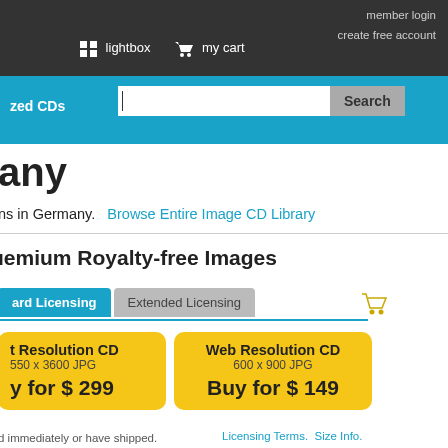member login  create free account  lightbox  my cart
zed CDs  Search
any
ns in Germany.  Browse Entire Image CD Library
ıemium Royalty-free Images
ard Licensing  Extended Licensing
t Resolution CD  550 x 3600 JPG  Buy for $ 299
Web Resolution CD  600 x 900 JPG  Buy for $ 149
d immediately or have shipped.  Licensing Terms.  Size Info.
odel Released